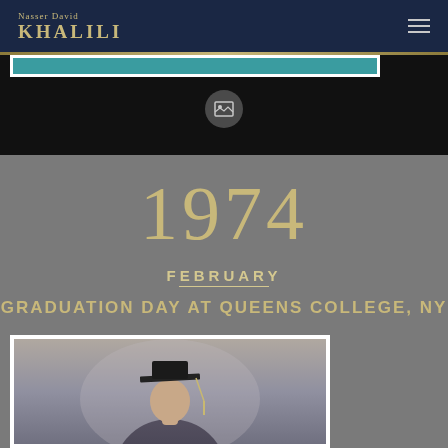Nasser David KHALILI
[Figure (photo): Website header navigation bar with Nasser David Khalili logo on dark navy background with gold text, hamburger menu icon on right]
[Figure (screenshot): Dark band with white-framed teal image strip and circular gallery icon in center]
1974
FEBRUARY
GRADUATION DAY AT QUEENS COLLEGE, NY
[Figure (photo): Vintage graduation photo of a person wearing a graduation cap and gown, partially visible at bottom of page]